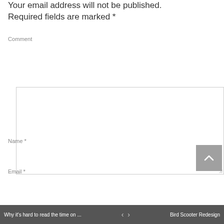Your email address will not be published. Required fields are marked *
Comment
Name *
Email *
Why it's hard to read the time on ... < > Bird Scooter Redesign